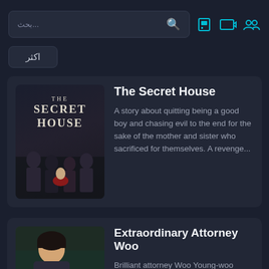بحث... [search icon] [movie icon] [TV icon] [people icon]
اكثر
The Secret House
A story about quitting being a good boy and chasing evil to the end for the sake of the mother and sister who sacrificed for themselves. A revenge...
Extraordinary Attorney Woo
Brilliant attorney Woo Young-woo tackles